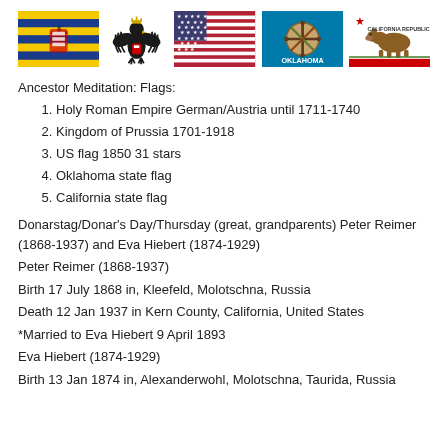[Figure (illustration): Row of five flags: Holy Roman Empire German/Austria flag, Kingdom of Prussia eagle emblem, US flag (31 stars, 1850), Oklahoma state flag, California Republic state flag]
Ancestor Meditation: Flags:
1. Holy Roman Empire German/Austria until 1711-1740
2. Kingdom of Prussia 1701-1918
3. US flag 1850 31 stars
4. Oklahoma state flag
5. California state flag
Donarstag/Donar's Day/Thursday (great, grandparents) Peter Reimer (1868-1937) and Eva Hiebert (1874-1929)
Peter Reimer (1868-1937)
Birth 17 July 1868 in, Kleefeld, Molotschna, Russia
Death 12 Jan 1937 in Kern County, California, United States
*Married to Eva Hiebert 9 April 1893
Eva Hiebert (1874-1929)
Birth 13 Jan 1874 in, Alexanderwohl, Molotschna, Taurida, Russia